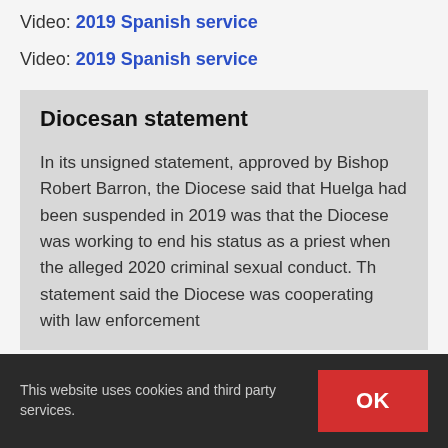Video: 2019 Spanish service
Video: 2019 Spanish service
Diocesan statement
In its unsigned statement, approved by Bishop Robert Barron, the Diocese said that Huelga had been suspended in 2019 was that the Diocese was working to end his status as a priest when the alleged 2020 criminal sexual conduct. Th statement said the Diocese was cooperating with law enforcement
This website uses cookies and third party services.